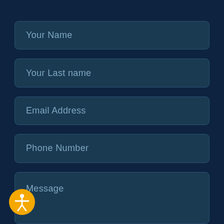Your Name
Your Last name
Email Address
Phone Number
Message
[Figure (illustration): Accessibility icon: orange circle with a white human figure inside, representing accessibility features]